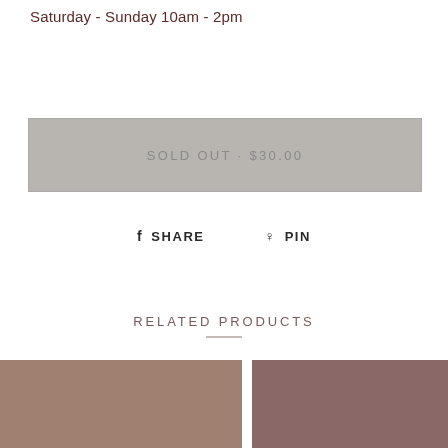Saturday - Sunday 10am - 2pm
SOLD OUT · $30.00
f SHARE   ♟ PIN
RELATED PRODUCTS
[Figure (photo): Two product color swatch images side by side: left is a taupe/tan color, right is a mauve/dusty rose color]